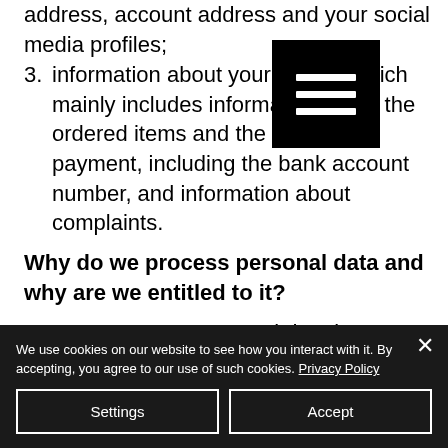address, account address and your social media profiles;
3. information about your orders, which mainly includes information about the ordered items and the method of payment, including the bank account number, and information about complaints.
Why do we process personal data and why are we entitled to it?
We process your personal data in different situations for different purposes. We will only process personal data for specific,
We use cookies on our website to see how you interact with it. By accepting, you agree to our use of such cookies. Privacy Policy